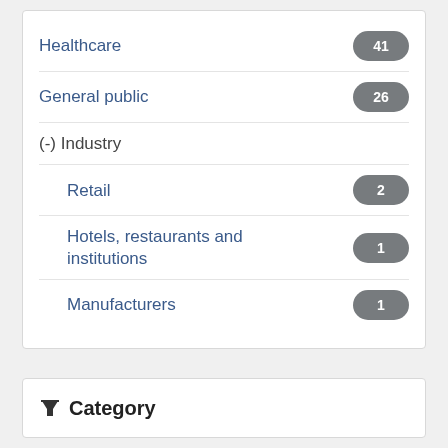Healthcare — 41
General public — 26
(-) Industry
Retail — 2
Hotels, restaurants and institutions — 1
Manufacturers — 1
Category